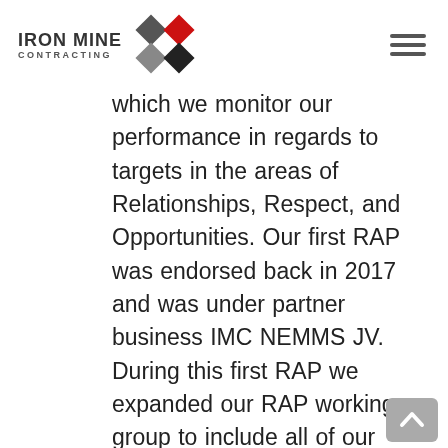IRON MINE CONTRACTING
which we monitor our performance in regards to targets in the areas of Relationships, Respect, and Opportunities. Our first RAP was endorsed back in 2017 and was under partner business IMC NEMMS JV. During this first RAP we expanded our RAP working group to include all of our partner businesses and it was natural to make the step to have our next RAP sit under IPA being better placed to represent all of our JV partners from across